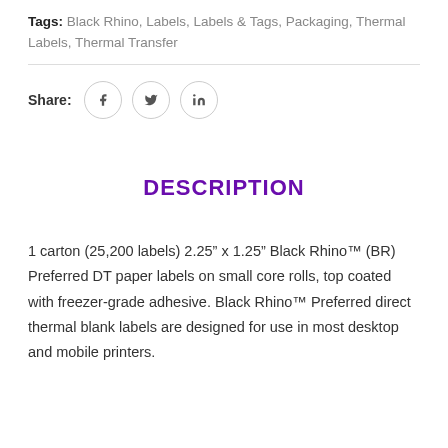Tags: Black Rhino, Labels, Labels & Tags, Packaging, Thermal Labels, Thermal Transfer
Share: [Facebook] [Twitter] [LinkedIn]
DESCRIPTION
1 carton (25,200 labels) 2.25" x 1.25" Black Rhino™ (BR) Preferred DT paper labels on small core rolls, top coated with freezer-grade adhesive. Black Rhino™ Preferred direct thermal blank labels are designed for use in most desktop and mobile printers.